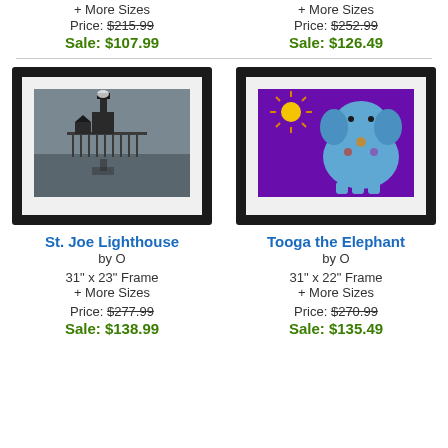+ More Sizes
Price: $215.99
Sale: $107.99
+ More Sizes
Price: $252.99
Sale: $126.49
[Figure (photo): Framed photograph of St. Joe Lighthouse, black frame with white mat, lighthouse and pier reflected in water]
[Figure (illustration): Framed colorful illustration of an elephant on purple background with yellow sun, black frame with white mat, titled Tooga the Elephant]
St. Joe Lighthouse
by O
31" x 23" Frame
+ More Sizes
Price: $277.99
Sale: $138.99
Tooga the Elephant
by O
31" x 22" Frame
+ More Sizes
Price: $270.99
Sale: $135.49